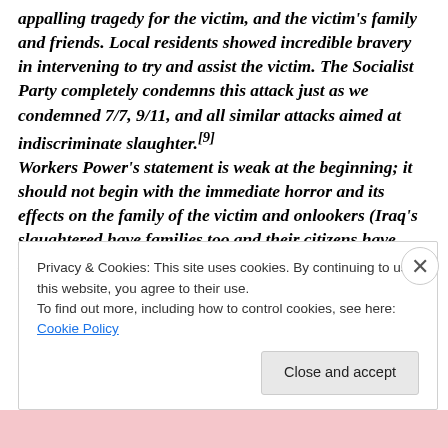appalling tragedy for the victim, and the victim's family and friends. Local residents showed incredible bravery in intervening to try and assist the victim. The Socialist Party completely condemns this attack just as we condemned 7/7, 9/11, and all similar attacks aimed at indiscriminate slaughter.[9] Workers Power's statement is weak at the beginning; it should not begin with the immediate horror and its effects on the family of the victim and onlookers (Iraq's slaughtered have families too and their citizens have seen far worse) but with its cause, which it does
Privacy & Cookies: This site uses cookies. By continuing to use this website, you agree to their use.
To find out more, including how to control cookies, see here: Cookie Policy
[Close and accept]